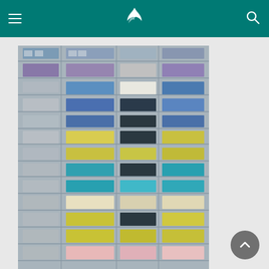Cathay Pacific navigation header with hamburger menu, logo, and search icon
[Figure (photo): Colorful high-rise apartment building facade with rows of balconies in multiple colors including blue, yellow, teal, pink, and cream. People visible on some balconies. Dense urban Hong Kong residential block photographed straight-on.]